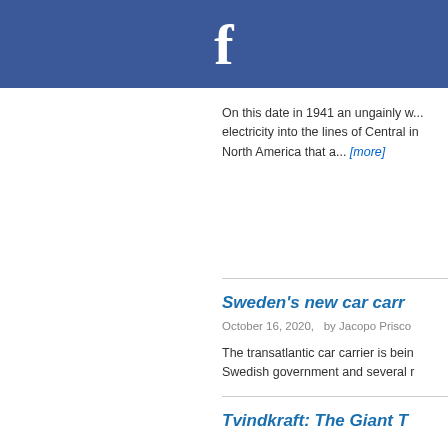f
On this date in 1941 an ungainly w... electricity into the lines of Central in North America that a... [more]
Sweden's new car carr
October 16, 2020,   by Jacopo Prisco
The transatlantic car carrier is bein Swedish government and several r
Tvindkraft: The Giant T